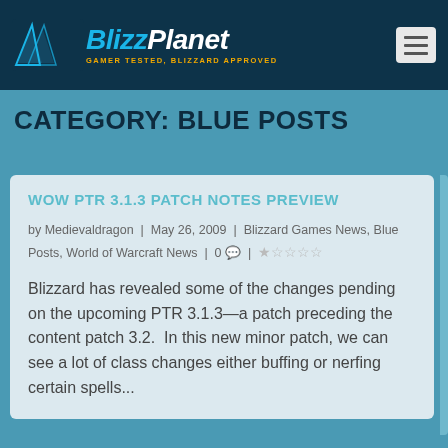[Figure (logo): BlizzPlanet logo with blue and white stylized text and tagline 'GAMER TESTED, BLIZZARD APPROVED']
CATEGORY: BLUE POSTS
WOW PTR 3.1.3 PATCH NOTES PREVIEW
by Medievaldragon | May 26, 2009 | Blizzard Games News, Blue Posts, World of Warcraft News | 0 💬 | ★☆☆☆☆
Blizzard has revealed some of the changes pending on the upcoming PTR 3.1.3—a patch preceding the content patch 3.2.  In this new minor patch, we can see a lot of class changes either buffing or nerfing certain spells...